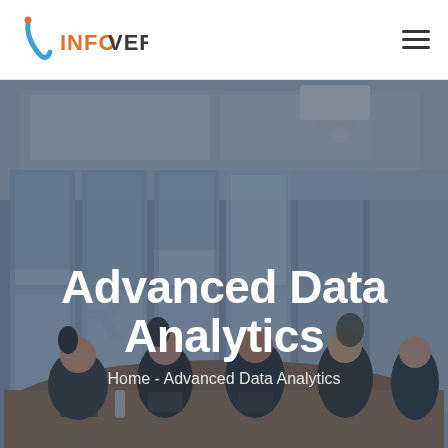INFOVERGE
[Figure (photo): A meeting room with people seated around a conference table, large windows in the background, projector on ceiling, dimly lit with a blue-gray overlay]
Advanced Data Analytics
Home - Advanced Data Analytics